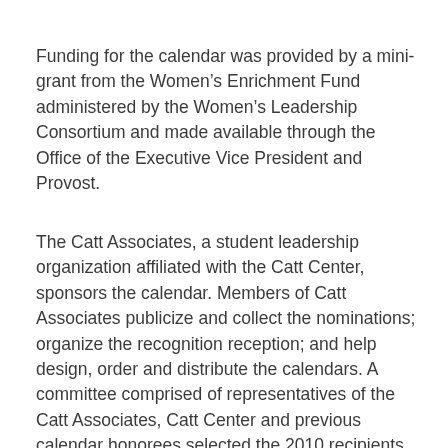Funding for the calendar was provided by a mini-grant from the Women's Enrichment Fund administered by the Women's Leadership Consortium and made available through the Office of the Executive Vice President and Provost.
The Catt Associates, a student leadership organization affiliated with the Catt Center, sponsors the calendar. Members of Catt Associates publicize and collect the nominations; organize the recognition reception; and help design, order and distribute the calendars. A committee comprised of representatives of the Catt Associates, Catt Center and previous calendar honorees selected the 2010 recipients.
“73 women were nominated for the 2010 Women Impacting ISU Calendar. Because of the caliber of the nominations, it was truly difficult for the selection committee to pick only 12...